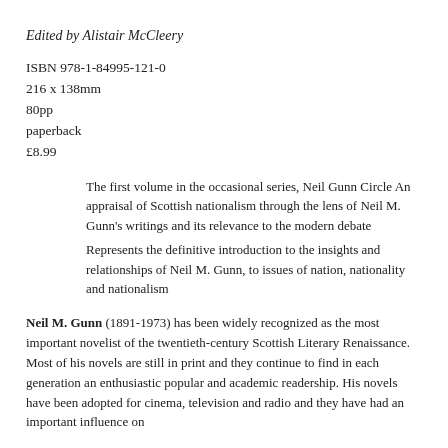Edited by Alistair McCleery
ISBN 978-1-84995-121-0
216 x 138mm
80pp
paperback
£8.99
The first volume in the occasional series, Neil Gunn Circle An appraisal of Scottish nationalism through the lens of Neil M. Gunn's writings and its relevance to the modern debate
Represents the definitive introduction to the insights and relationships of Neil M. Gunn, to issues of nation, nationality and nationalism
Neil M. Gunn (1891-1973) has been widely recognized as the most important novelist of the twentieth-century Scottish Literary Renaissance. Most of his novels are still in print and they continue to find in each generation an enthusiastic popular and academic readership. His novels have been adopted for cinema, television and radio and they have had an important influence on